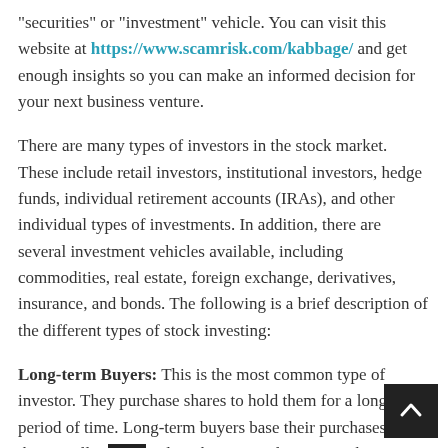"securities" or "investment" vehicle. You can visit this website at https://www.scamrisk.com/kabbage/ and get enough insights so you can make an informed decision for your next business venture.
There are many types of investors in the stock market. These include retail investors, institutional investors, hedge funds, individual retirement accounts (IRAs), and other individual types of investments. In addition, there are several investment vehicles available, including commodities, real estate, foreign exchange, derivatives, insurance, and bonds. The following is a brief description of the different types of stock investing:
Long-term Buyers: This is the most common type of investor. They purchase shares to hold them for a long period of time. Long-term buyers base their purchases on the overall market and on the potential return on their investment. In general, these